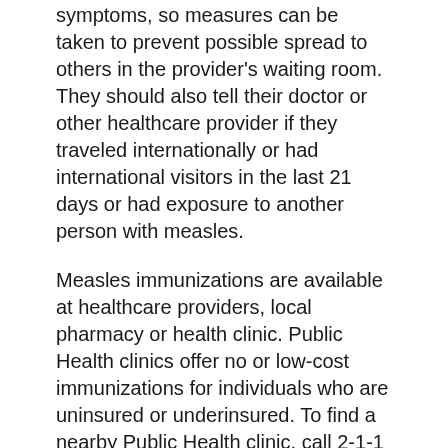symptoms, so measures can be taken to prevent possible spread to others in the provider's waiting room. They should also tell their doctor or other healthcare provider if they traveled internationally or had international visitors in the last 21 days or had exposure to another person with measles.
Measles immunizations are available at healthcare providers, local pharmacy or health clinic. Public Health clinics offer no or low-cost immunizations for individuals who are uninsured or underinsured. To find a nearby Public Health clinic, call 2-1-1 or visit publichealth.lacounty.gov/chs/phcenters.htm.
For more information about measles, visit: publichealth.lacounty.gov/media/measles or call 2-1-1.
The Department of Public Health is committed to protecting and improving the health of over 10 million residents of Los Angeles County. Through a variety of